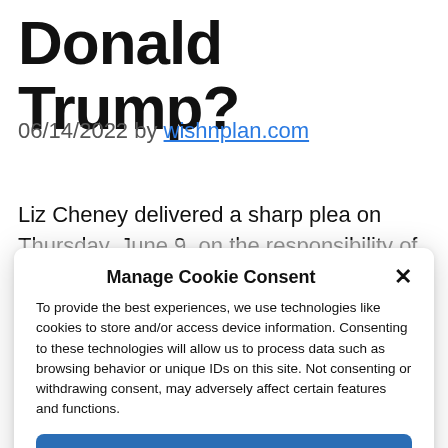Donald Trump?
06/14/2022 by wishnplan.com
Liz Cheney delivered a sharp plea on Thursday, June 9, on the responsibility of Donald Trump in the assault on the Capitol
Manage Cookie Consent
To provide the best experiences, we use technologies like cookies to store and/or access device information. Consenting to these technologies will allow us to process data such as browsing behavior or unique IDs on this site. Not consenting or withdrawing consent, may adversely affect certain features and functions.
Accept
Cookie Policy